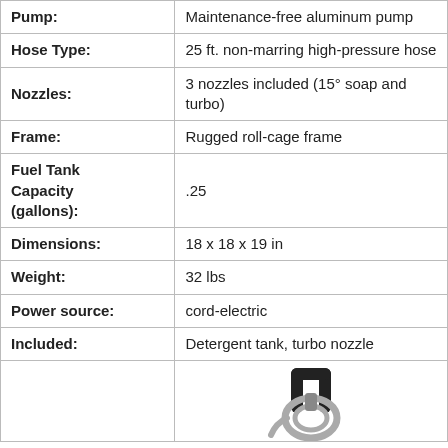| Attribute | Value |
| --- | --- |
| Pump: | Maintenance-free aluminum pump |
| Hose Type: | 25 ft. non-marring high-pressure hose |
| Nozzles: | 3 nozzles included (15° soap and turbo) |
| Frame: | Rugged roll-cage frame |
| Fuel Tank Capacity (gallons): | .25 |
| Dimensions: | 18 x 18 x 19 in |
| Weight: | 32 lbs |
| Power source: | cord-electric |
| Included: | Detergent tank, turbo nozzle |
[Figure (photo): Photo of pressure washer handle/frame with hose coiled around it, shown in bottom right cell of the table.]